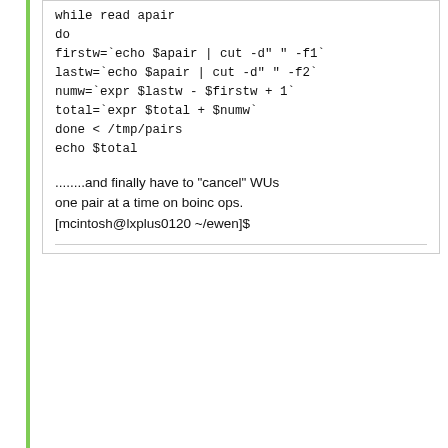while read apair
do
firstw=`echo $apair | cut -d" " -f1`
lastw=`echo $apair | cut -d" " -f2`
numw=`expr $lastw - $firstw + 1`
total=`expr $total + $numw`
done < /tmp/pairs
echo $total
........and finally have to "cancel" WUs one pair at a time on boinc ops.
[mcintosh@lxplus0120 ~/ewen]$
ID: 26853 ·
Reply
Quote
Message boards : Number crunching : Download errors
[Figure (logo): BOINC powered by logo with orange dot]